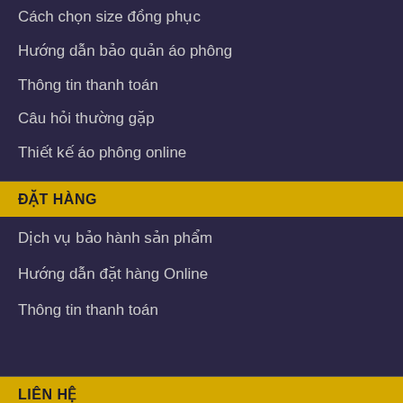Cách chọn size đồng phục
Hướng dẫn bảo quản áo phông
Thông tin thanh toán
Câu hỏi thường gặp
Thiết kế áo phông online
ĐẶT HÀNG
Dịch vụ bảo hành sản phẩm
Hướng dẫn đặt hàng Online
Thông tin thanh toán
LIÊN HỆ
Giờ làm việc:
Sáng: 09h - 12h
Chiều: 13h30 - 18h30
Nghỉ Chủ Nhật